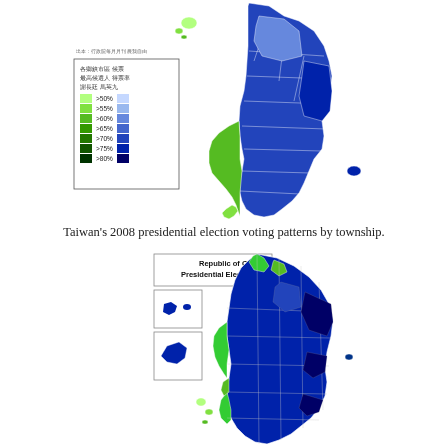[Figure (map): Taiwan's 2008 presidential election voting patterns by township. Map shows townships colored in shades of green (謝長廷) and blue (馬英九) based on vote share percentages. Legend shows: >50%, >55%, >60%, >65%, >70%, >75%, >80% for both candidates. West coast and south lean green, east and north lean blue.]
Taiwan's 2008 presidential election voting patterns by township.
[Figure (map): Republic of China Presidential Election, 2012 map by township. Shows Taiwan colored in shades of green and blue by winning candidate and vote share. Inset maps of outlying islands shown at upper left. Most of Taiwan is dominated by blue (KMT), with green (DPP) areas primarily along the western coastal strip and southern regions.]